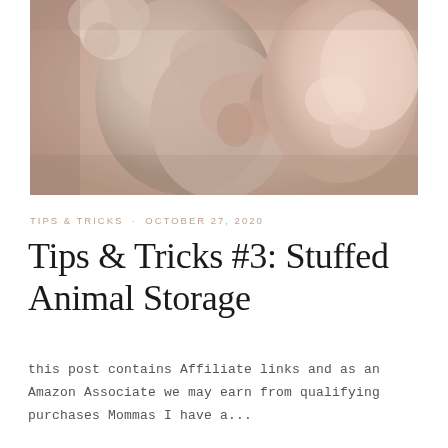[Figure (photo): Sepia-toned close-up photo of a baby/toddler hugging a fluffy stuffed animal teddy bear, soft warm tones]
TIPS & TRICKS · OCTOBER 27, 2020
Tips & Tricks #3: Stuffed Animal Storage
this post contains Affiliate links and as an Amazon Associate we may earn from qualifying purchases Mommas I have a...